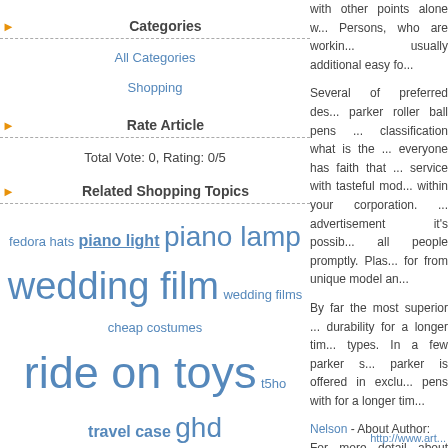Categories
All Categories
Shopping
Rate Article
Total Vote: 0, Rating: 0/5
Related Shopping Topics
fedora hats piano light piano lamp wedding film wedding films cheap costumes ride on toys t5ho travel case ghd glattejern
with other points alone w... Persons, who are workin... usually additional easy fo...
Several of preferred des... parker roller ball pens ... classification what is the ... everyone has faith that ... service with tasteful mod... within your corporation. ... advertisement it's possib... all people promptly. Plas... for from unique model an...
By far the most superior ... durability for a longer tim... types. In a few parker s... parker is offered in exclu... pens with for a longer tim...
Nelson - About Author:
For more detail about Pro...
http://www.art...